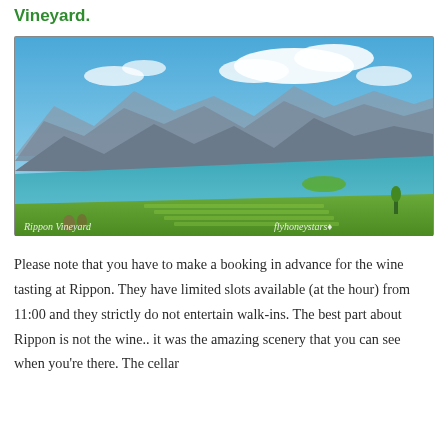Vineyard.
[Figure (photo): Aerial/elevated view of Rippon Vineyard with green vineyard rows in the foreground, a turquoise lake (Lake Wanaka) in the middle, and snow-capped mountains under a blue sky with clouds in the background. Watermarks read 'Rippon Vineyard' bottom-left and 'flyhoneystars' bottom-right.]
Please note that you have to make a booking in advance for the wine tasting at Rippon. They have limited slots available (at the hour) from 11:00 and they strictly do not entertain walk-ins. The best part about Rippon is not the wine.. it was the amazing scenery that you can see when you're there. The cellar